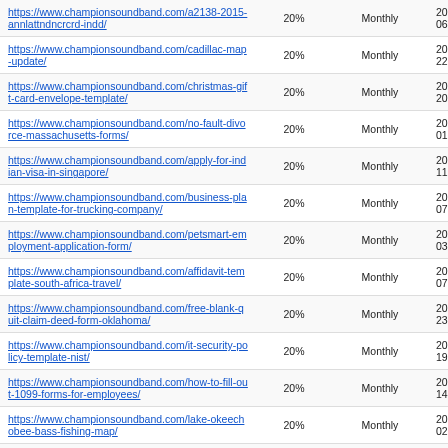| URL | Priority | Change Freq | Last Modified |
| --- | --- | --- | --- |
| https://www.championsoundband.com/a2138-2015-annlattndncrcrd-indd/ | 20% | Monthly | 2019-... 06:16... |
| https://www.championsoundband.com/cadillac-map-update/ | 20% | Monthly | 2019-... 22:27... |
| https://www.championsoundband.com/christmas-gift-card-envelope-template/ | 20% | Monthly | 2019-... 20:15... |
| https://www.championsoundband.com/no-fault-divorce-massachusetts-forms/ | 20% | Monthly | 2019-... 01:30... |
| https://www.championsoundband.com/apply-for-indian-visa-in-singapore/ | 20% | Monthly | 2019-... 11:57... |
| https://www.championsoundband.com/business-plan-template-for-trucking-company/ | 20% | Monthly | 2019-... 07:20... |
| https://www.championsoundband.com/petsmart-employment-application-form/ | 20% | Monthly | 2019-... 03:40... |
| https://www.championsoundband.com/affidavit-template-south-africa-travel/ | 20% | Monthly | 2019-... 07:44... |
| https://www.championsoundband.com/free-blank-quit-claim-deed-form-oklahoma/ | 20% | Monthly | 2019-... 23:26... |
| https://www.championsoundband.com/it-security-policy-template-nist/ | 20% | Monthly | 2019-... 19:41... |
| https://www.championsoundband.com/how-to-fill-out-1099-forms-for-employees/ | 20% | Monthly | 2019-... 14:03... |
| https://www.championsoundband.com/lake-okeechobee-bass-fishing-map/ | 20% | Monthly | 2019-... 02:33... |
| https://www.championsoundband.com/... | 20% | Monthly | 2019-... |